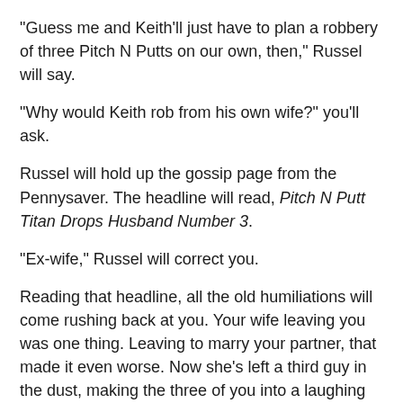"Guess me and Keith'll just have to plan a robbery of three Pitch N Putts on our own, then," Russel will say.
"Why would Keith rob from his own wife?" you'll ask.
Russel will hold up the gossip page from the Pennysaver. The headline will read, Pitch N Putt Titan Drops Husband Number 3.
"Ex-wife," Russel will correct you.
Reading that headline, all the old humiliations will come rushing back at you. Your wife leaving you was one thing. Leaving to marry your partner, that made it even worse. Now she's left a third guy in the dust, making the three of you into a laughing stock. The three stooges. Clarise's castoffs. It's time to make her pay.
"How many guys you think we're gonna need to pull this off," you'll ask Russel.